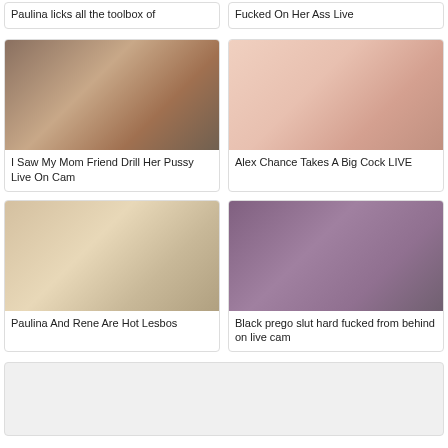Paulina licks all the toolbox of
Fucked On Her Ass Live
[Figure (photo): Video thumbnail showing adult content]
I Saw My Mom Friend Drill Her Pussy Live On Cam
[Figure (photo): Video thumbnail showing adult content]
Alex Chance Takes A Big Cock LIVE
[Figure (photo): Video thumbnail showing adult content]
Paulina And Rene Are Hot Lesbos
[Figure (photo): Video thumbnail showing adult content]
Black prego slut hard fucked from behind on live cam